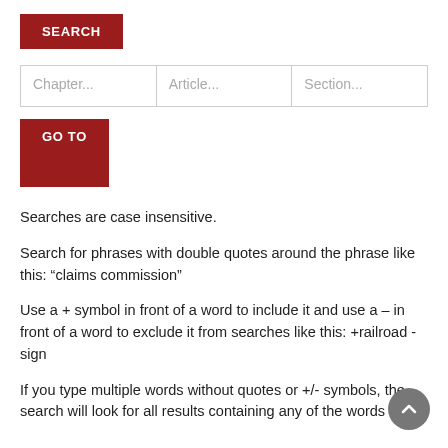SEARCH
Chapter...   Article...   Section...
GO TO
Searches are case insensitive.
Search for phrases with double quotes around the phrase like this: “claims commission”
Use a + symbol in front of a word to include it and use a – in front of a word to exclude it from searches like this: +railroad -sign
If you type multiple words without quotes or +/- symbols, the search will look for all results containing any of the words